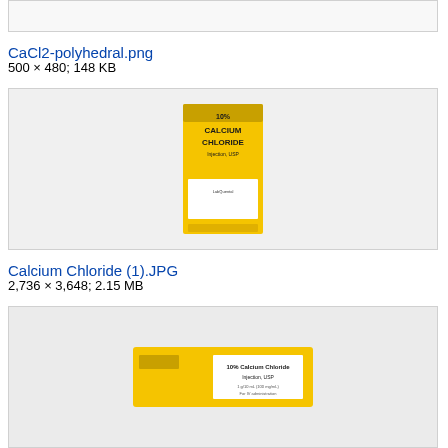[Figure (photo): Partial image box at top (truncated from previous section)]
CaCl2-polyhedral.png
500 × 480; 148 KB
[Figure (photo): Photo of a yellow box labeled '10% Calcium Chloride Injection, USP']
Calcium Chloride (1).JPG
2,736 × 3,648; 2.15 MB
[Figure (photo): Photo of a yellow box labeled '10% Calcium Chloride Injection, USP' shown at an angle, partially visible]